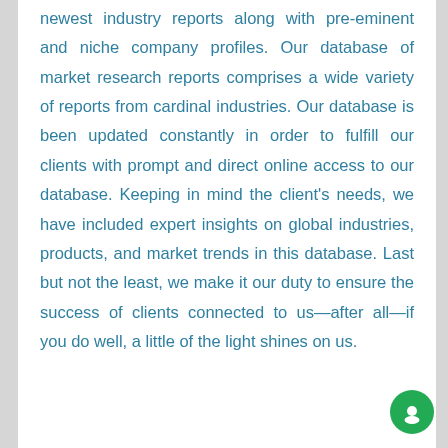newest industry reports along with pre-eminent and niche company profiles. Our database of market research reports comprises a wide variety of reports from cardinal industries. Our database is been updated constantly in order to fulfill our clients with prompt and direct online access to our database. Keeping in mind the client's needs, we have included expert insights on global industries, products, and market trends in this database. Last but not the least, we make it our duty to ensure the success of clients connected to us—after all—if you do well, a little of the light shines on us.